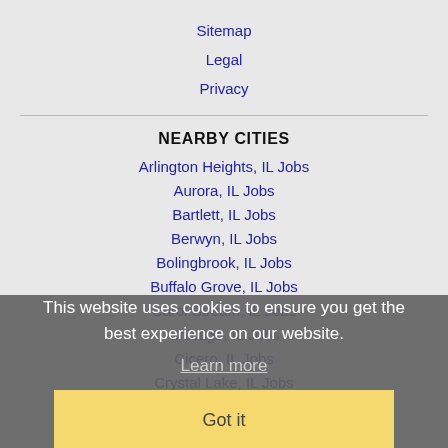Sitemap
Legal
Privacy
NEARBY CITIES
Arlington Heights, IL Jobs
Aurora, IL Jobs
Bartlett, IL Jobs
Berwyn, IL Jobs
Bolingbrook, IL Jobs
Buffalo Grove, IL Jobs
Carol Stream, IL Jobs
Chicago, IL Jobs
Cicero, IL Jobs
Crystal Lake, IL Jobs
DeKalb, IL Jobs
Des Plaines, IL Jobs
This website uses cookies to ensure you get the best experience on our website.
Learn more
Got it